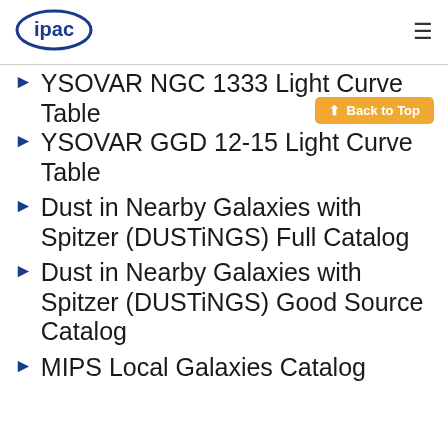ipac
YSOVAR NGC 1333 Light Curve Table
YSOVAR GGD 12-15 Light Curve Table
Dust in Nearby Galaxies with Spitzer (DUSTiNGS) Full Catalog
Dust in Nearby Galaxies with Spitzer (DUSTiNGS) Good Source Catalog
MIPS Local Galaxies Catalog